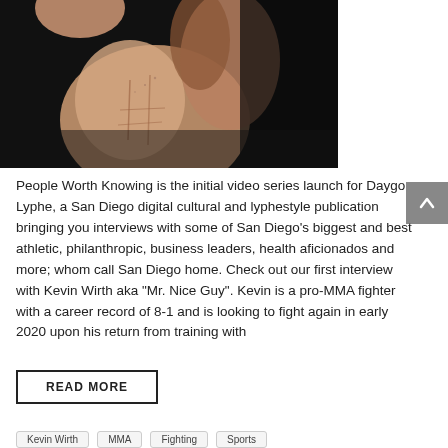[Figure (photo): Close-up photo of a muscular male torso and arm against a dark background, showing defined abdominal muscles and a raised arm/fist.]
People Worth Knowing is the initial video series launch for Daygo Lyphe, a San Diego digital cultural and lyphestyle publication bringing you interviews with some of San Diego's biggest and best athletic, philanthropic, business leaders, health aficionados and more; whom call San Diego home. Check out our first interview with Kevin Wirth aka "Mr. Nice Guy". Kevin is a pro-MMA fighter with a career record of 8-1 and is looking to fight again in early 2020 upon his return from training with
READ MORE
Kevin Wirth
MMA
Fighting
Sports